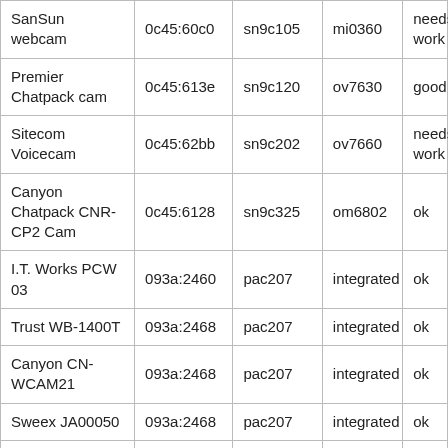| SanSun webcam | 0c45:60c0 | sn9c105 | mi0360 | needs work |
| Premier Chatpack cam | 0c45:613e | sn9c120 | ov7630 | good |
| Sitecom Voicecam | 0c45:62bb | sn9c202 | ov7660 | needs work |
| Canyon Chatpack CNR-CP2 Cam | 0c45:6128 | sn9c325 | om6802 | ok |
| I.T. Works PCW 03 | 093a:2460 | pac207 | integrated | ok |
| Trust WB-1400T | 093a:2468 | pac207 | integrated | ok |
| Canyon CN-WCAM21 | 093a:2468 | pac207 | integrated | ok |
| Sweex JA00050 | 093a:2468 | pac207 | integrated | ok |